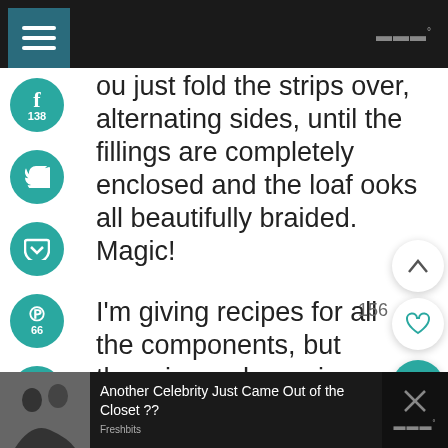Navigation bar with hamburger menu and site logo
ou just fold the strips over, alternating sides, until the fillings are completely enclosed and the loaf ooks all beautifully braided. Magic!
I'm giving recipes for all the components, but there is no shame in buying some pre-made components like pizza dough and sauce.
[Figure (screenshot): Social share sidebar with Facebook (138), Twitter, Pocket, Pinterest (66), Yummly, Email buttons in teal circles]
[Figure (screenshot): Right side floating action buttons: chevron up, heart (156 count), teal search button]
[Figure (screenshot): Bottom advertisement bar with celebrity news: Another Celebrity Just Came Out of the Closet ??]